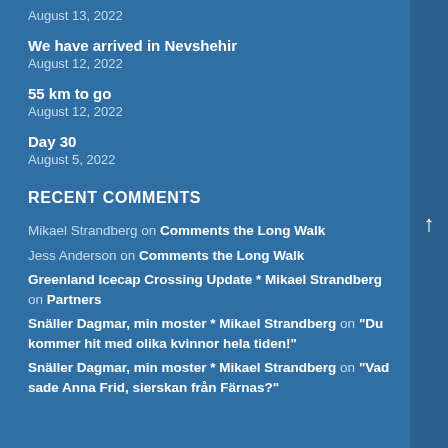August 13, 2022
We have arrived in Nevshehir
August 12, 2022
55 km to go
August 12, 2022
Day 30
August 5, 2022
RECENT COMMENTS
Mikael Strandberg on Comments the Long Walk
Jess Anderson on Comments the Long Walk
Greenland Icecap Crossing Update * Mikael Strandberg on Partners
Snäller Dagmar, min moster * Mikael Strandberg on "Du kommer hit med olika kvinnor hela tiden!"
Snäller Dagmar, min moster * Mikael Strandberg on "Vad sade Anna Frid, sierskan från Färnas?"